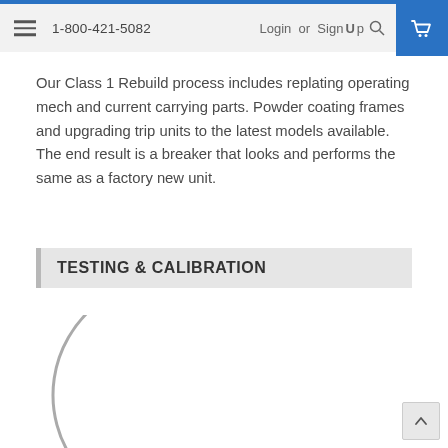1-800-421-5082   Login or Sign Up
Our Class 1 Rebuild process includes replating operating mech and current carrying parts. Powder coating frames and upgrading trip units to the latest models available. The end result is a breaker that looks and performs the same as a factory new unit.
TESTING & CALIBRATION
[Figure (other): A loading spinner arc partially visible — a circular loading indicator showing the bottom-left arc of a circle, indicating content is still loading below.]